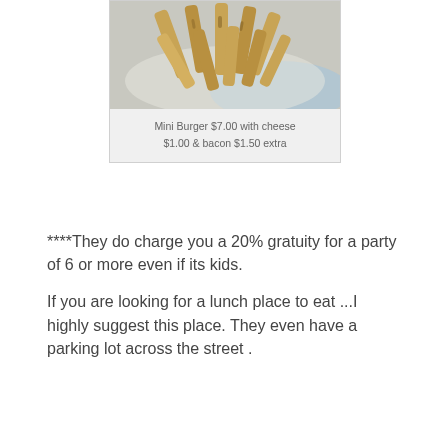[Figure (photo): Photo of french fries on a white plate, viewed from above. The fries are golden-brown and crispy.]
Mini Burger $7.00 with cheese $1.00 & bacon $1.50 extra
****They do charge you a 20% gratuity for a party of 6 or more even if its kids.
If you are looking for a lunch place to eat ...I highly suggest this place. They even have a parking lot across the street .